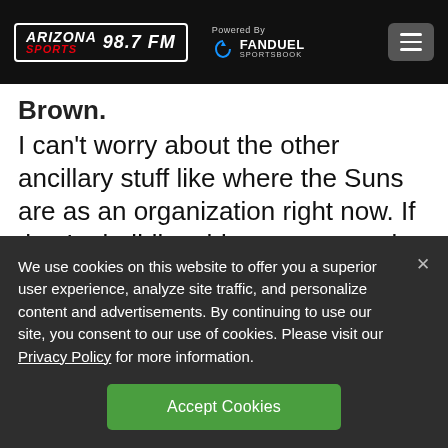Arizona Sports 98.7 FM — Powered By FanDuel Sportsbook
Brown.
I can't worry about the other ancillary stuff like where the Suns are as an organization right now. If they're building this team correctly, it's not a time to worry about fit. The majority of this roster won't be here
We use cookies on this website to offer you a superior user experience, analyze site traffic, and personalize content and advertisements. By continuing to use our site, you consent to our use of cookies. Please visit our Privacy Policy for more information.
Accept Cookies